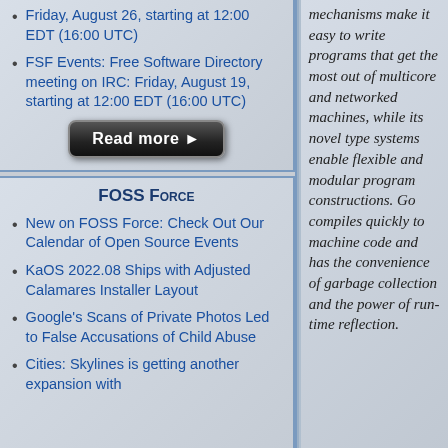Friday, August 26, starting at 12:00 EDT (16:00 UTC)
FSF Events: Free Software Directory meeting on IRC: Friday, August 19, starting at 12:00 EDT (16:00 UTC)
[Figure (other): Read more button with arrow]
FOSS Force
New on FOSS Force: Check Out Our Calendar of Open Source Events
KaOS 2022.08 Ships with Adjusted Calamares Installer Layout
Google's Scans of Private Photos Led to False Accusations of Child Abuse
Cities: Skylines is getting another expansion with
mechanisms make it easy to write programs that get the most out of multicore and networked machines, while its novel type systems enable flexible and modular program constructions. Go compiles quickly to machine code and has the convenience of garbage collection and the power of run-time reflection.